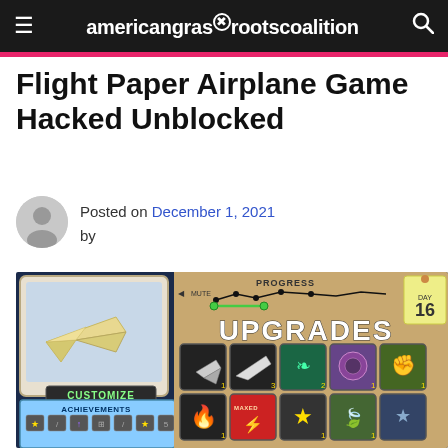americangrassrootscoalition
Flight Paper Airplane Game Hacked Unblocked
Posted on December 1, 2021 by
[Figure (screenshot): Screenshot of the Flight Paper Airplane game showing UPGRADES menu with CUSTOMIZE, ACHIEVEMENTS panels and various upgrade icons. Shows PROGRESS chart and DAY 16 indicator.]